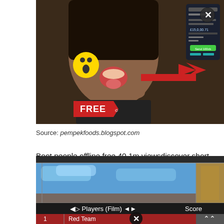[Figure (photo): Screenshot of a person with mouth open and surprised emoji, pointing at a phone screen showing a financial app, with a red FREE label and red arrow. An X close button is visible.]
Source: pempekfoods.blogspot.com
Boot people offline free 40.1m viewsdiscover short videos related to boot people offline free on tiktok. How to boot someone offline ps4 free guide 2022.
[Figure (screenshot): Game scoreboard screenshot showing Players (Film) and Score columns. Row 1: Red Team, 0. Row 2: Spartu TG, TYY, 0. An X close button is visible. A scroll-up arrow button is at bottom right.]